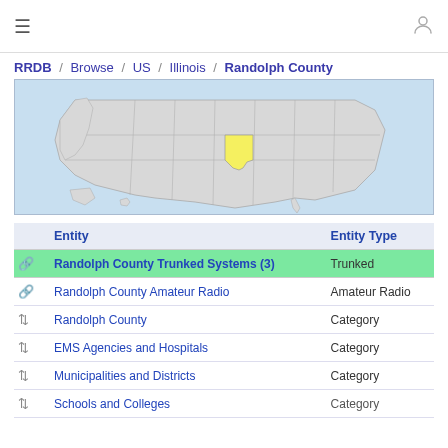≡  [user icon]
RRDB / Browse / US / Illinois / Randolph County
[Figure (map): Map of the United States with Illinois highlighted in yellow, shown on a light blue background representing a geographic locator map for Randolph County, Illinois.]
|  | Entity | Entity Type |
| --- | --- | --- |
| 🔗 | Randolph County Trunked Systems (3) | Trunked |
| 🔗 | Randolph County Amateur Radio | Amateur Radio |
| ↕ | Randolph County | Category |
| ↕ | EMS Agencies and Hospitals | Category |
| ↕ | Municipalities and Districts | Category |
| ↕ | Schools and Colleges | Category |